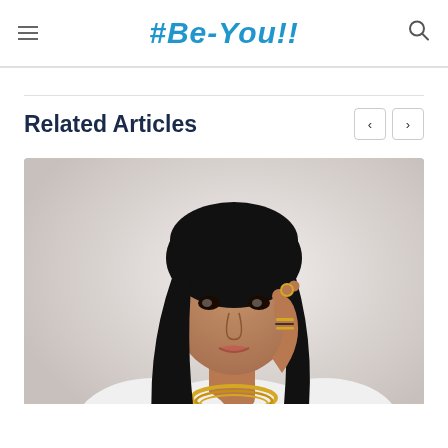#Be-You!!
Related Articles
[Figure (photo): Portrait photo of a woman with long dark hair, wearing a white top and gold jewelry (necklace and bracelets), with her hand raised near her face, against a light background.]